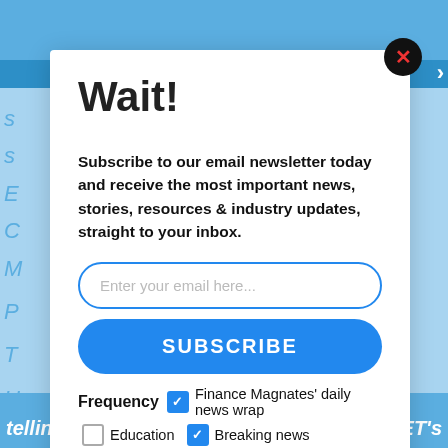Wait!
Subscribe to our email newsletter today and receive the most important news, stories, resources & industry updates, straight to your inbox.
Enter your email here...
SUBSCRIBE
Frequency  Finance Magnates' daily news wrap
Education
Breaking news
Business enhancing offers from relevant providers